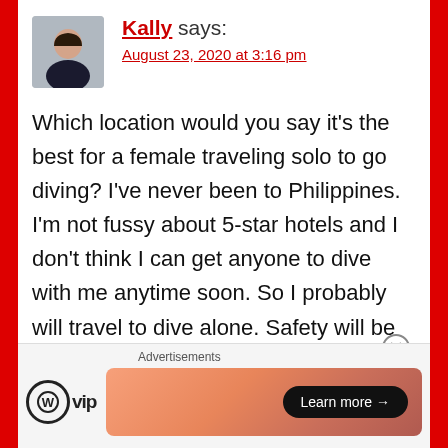Kally says: August 23, 2020 at 3:16 pm
Which location would you say it’s the best for a female traveling solo to go diving? I’ve never been to Philippines. I’m not fussy about 5-star hotels and I don’t think I can get anyone to dive with me anytime soon. So I probably will travel to dive alone. Safety will be my top concern.
★ Liked by 1 person
Reply
Advertisements  WP VIP  Learn more →